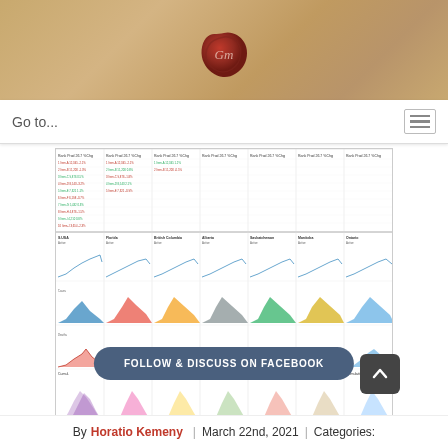[Figure (illustration): Brown parchment/kraft paper banner background with a red wax seal centered at top]
Go to...
[Figure (screenshot): Screenshot of a financial or epidemiological dashboard showing multiple columns of data tables and area/line charts organized in a grid. Charts show various colored distributions (blue, red, yellow, green, orange, brown) across multiple rows and columns.]
FOLLOW & DISCUSS ON FACEBOOK
By Horatio Kemeny | March 22nd, 2021 | Categories: